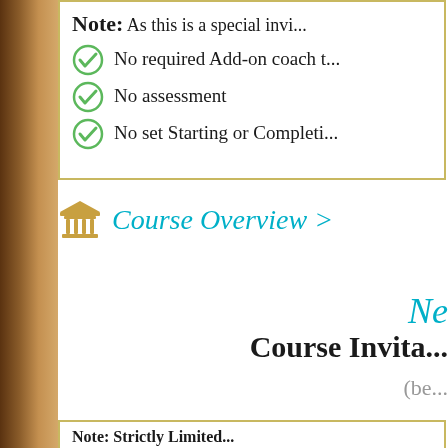Note: As this is a special invi...
No required Add-on coach t...
No assessment
No set Starting or Completi...
Course Overview >
Ne...
Course Invita...
(be...
Note: Strictly Limited...